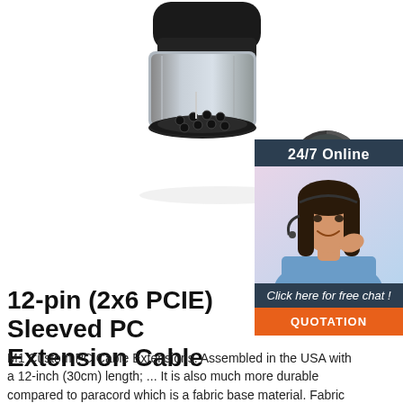[Figure (photo): Large 12-pin (2x6 PCIE) connector/adapter shown at an angle, with black plastic and silver metal cylindrical housing, showing multiple pin holes. A smaller round connector end is shown below and to the right.]
[Figure (infographic): 24/7 Online chat widget with dark background, showing a smiling female customer service agent wearing a headset, with 'Click here for free chat!' text and orange QUOTATION button.]
12-pin (2x6 PCIE) Sleeved PC Extension Cable
M1 Custom PC Cable Extensions. Assembled in the USA with a 12-inch (30cm) length; ... It is also much more durable compared to paracord which is a fabric base material. Fabric based materials can fray and retain dust and dirt in the fibers. ... 6-pin PCIE PC Cable Extension $11.99. 6+2 pin PCIE PC Cable Extension $14.99. 8-pin PCIE PC Cable...